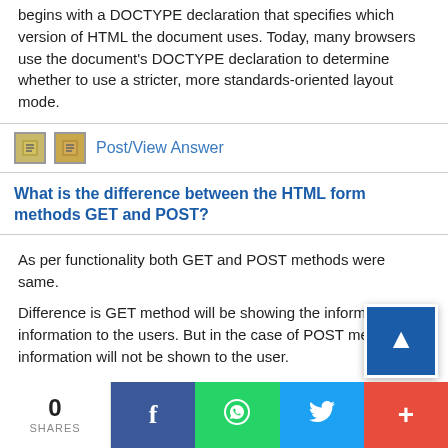begins with a DOCTYPE declaration that specifies which version of HTML the document uses. Today, many browsers use the document's DOCTYPE declaration to determine whether to use a stricter, more standards-oriented layout mode.
Post/View Answer
What is the difference between the HTML form methods GET and POST?
As per functionality both GET and POST methods were same.
Difference is GET method will be showing the information information to the users. But in the case of POST method information will not be shown to the user.
0 SHARES | Facebook | WhatsApp | Twitter | +